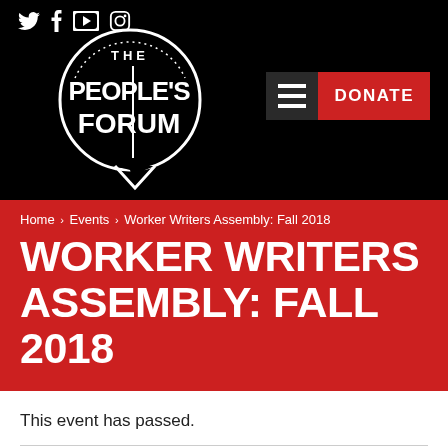The People's Forum — social icons: Twitter, Facebook, YouTube, Instagram
[Figure (logo): The People's Forum circular logo — white circle on black background with speech bubble, text 'THE PEOPLE'S FORUM']
Home › Events › Worker Writers Assembly: Fall 2018
WORKER WRITERS ASSEMBLY: FALL 2018
This event has passed.
f Share on Facebook   Tweet about it   G+   p